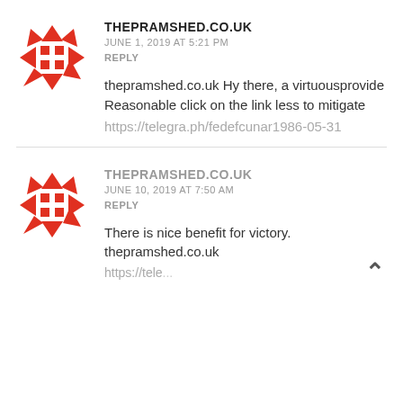[Figure (logo): Red and white geometric logo for thepramshed.co.uk — circular arrangement of red triangles and squares]
THEPRAMSHED.CO.UK
JUNE 1, 2019 AT 5:21 PM
REPLY
thepramshed.co.uk Hy there, a virtuousprovide
Reasonable click on the link less to mitigate
https://telegra.ph/fedefcunar1986-05-31
[Figure (logo): Red and white geometric logo for thepramshed.co.uk — circular arrangement of red triangles and squares]
THEPRAMSHED.CO.UK
JUNE 10, 2019 AT 7:50 AM
REPLY
There is nice benefit for victory.
thepramshed.co.uk
https://tele...